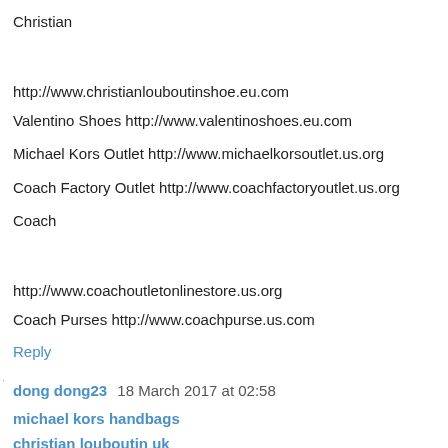Christian Louboutin Shoes http://www.christianlouboutinshoe.eu.com
Valentino Shoes http://www.valentinoshoes.eu.com
Michael Kors Outlet http://www.michaelkorsoutlet.us.org
Coach Factory Outlet http://www.coachfactoryoutlet.us.org
Coach Outlet Online http://www.coachoutletonlinestore.us.org
Coach Purses http://www.coachpurse.us.com
Reply
dong dong23  18 March 2017 at 02:58
michael kors handbags
christian louboutin uk
fitflops sale clearance
supra shoes